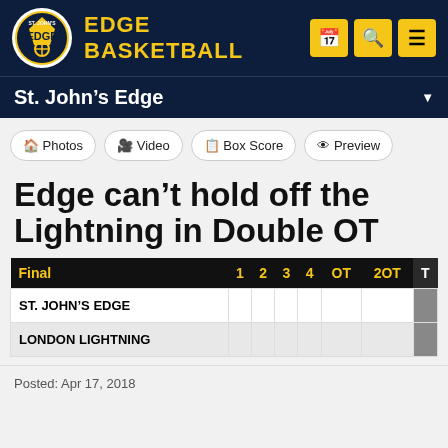EDGE BASKETBALL
St. John's Edge
Photos  Video  Box Score  Preview
Edge can't hold off the Lightning in Double OT
| Final | 1 | 2 | 3 | 4 | OT | 2OT | T |
| --- | --- | --- | --- | --- | --- | --- | --- |
| ST. JOHN'S EDGE |  |  |  |  |  |  |  |
| LONDON LIGHTNING |  |  |  |  |  |  |  |
Posted: Apr 17, 2018